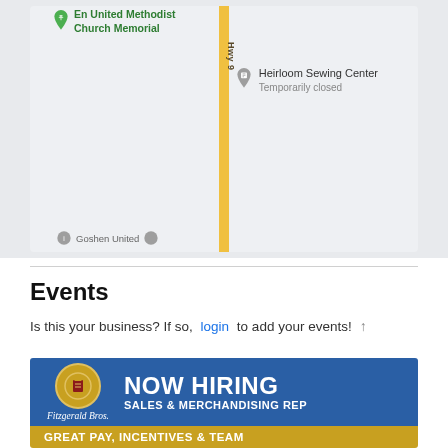[Figure (map): Google Maps screenshot showing a vertical road labeled Hwy 9, with a United Methodist Church Memorial marker in the upper left area (green pin), and Heirloom Sewing Center marker on the right (gray pin, 'Temporarily closed'), and a partial label 'Goshen United' at the bottom.]
Events
Is this your business? If so, login to add your events!
[Figure (infographic): Advertisement banner for Fitzgerald Bros. Now hiring Sales & Merchandising Rep. Blue background with gold logo badge on left, white bold text 'NOW HIRING' and 'SALES & MERCHANDISING REP'. Bottom gold bar reads 'GREAT PAY, INCENTIVES & TEAM']